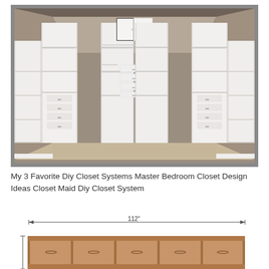[Figure (photo): Walk-in closet with white shelving systems on three walls, showing hanging rods, shelves, drawers, and a central cabinet unit. Carpeted floor, beige/taupe walls.]
My 3 Favorite Diy Closet Systems Master Bedroom Closet Design Ideas Closet Maid Diy Closet System
[Figure (engineering-diagram): Engineering/technical diagram showing front view of a closet system with dimension line indicating 112 inches width. Wooden brown cabinet sections visible at bottom.]